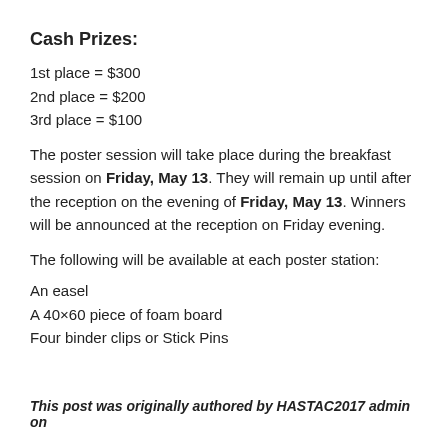Cash Prizes:
1st place = $300
2nd place = $200
3rd place = $100
The poster session will take place during the breakfast session on Friday, May 13. They will remain up until after the reception on the evening of Friday, May 13. Winners will be announced at the reception on Friday evening.
The following will be available at each poster station:
An easel
A 40×60 piece of foam board
Four binder clips or Stick Pins
This post was originally authored by HASTAC2017 admin on